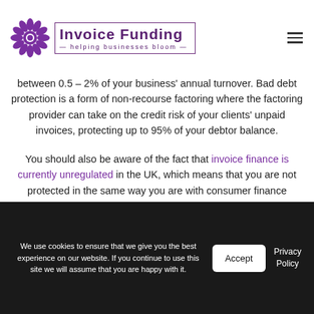[Figure (logo): Invoice Funding logo with purple flower/sunflower icon and text 'Invoice Funding – helping businesses bloom' in a bordered box]
between 0.5 – 2% of your business' annual turnover. Bad debt protection is a form of non-recourse factoring where the factoring provider can take on the credit risk of your clients' unpaid invoices, protecting up to 95% of your debtor balance.
You should also be aware of the fact that invoice finance is currently unregulated in the UK, which means that you are not protected in the same way you are with consumer finance products.
However, the UK Finance is the leading trade body for
We use cookies to ensure that we give you the best experience on our website. If you continue to use this site we will assume that you are happy with it.